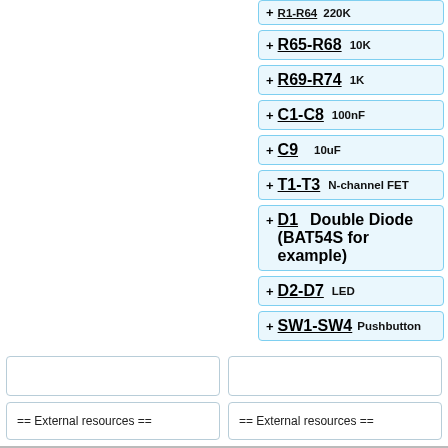R65-R68   10K
R69-R74   1K
C1-C8     100nF
C9        10uF
T1-T3     N-channel FET
D1        Double Diode (BAT54S for example)
D2-D7     LED
SW1-SW4   Pushbutton
== External resources ==
== External resources ==